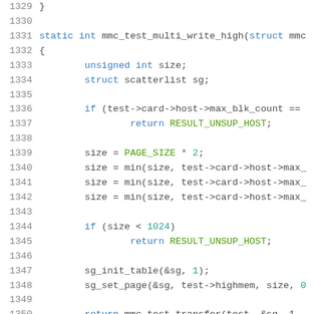Source code listing showing lines 1329-1350 of a C file implementing mmc_test_multi_write_high function